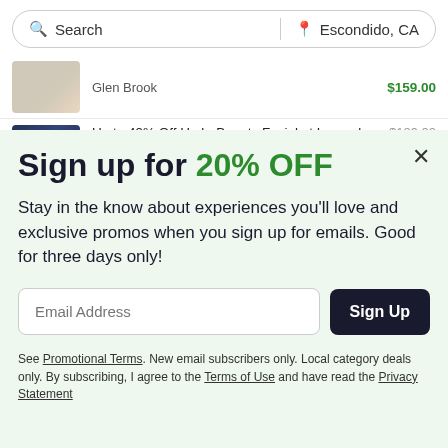[Figure (screenshot): Search bar with 'Search' text on left and 'Escondido, CA' location on right]
Glen Brook    $159.00
Up to 49% Off HydraBeauty Facial at Lavand...    Lavande Spa    $189.00
Sign up for 20% OFF
Stay in the know about experiences you'll love and exclusive promos when you sign up for emails. Good for three days only!
Email Address    Sign Up
See Promotional Terms. New email subscribers only. Local category deals only. By subscribing, I agree to the Terms of Use and have read the Privacy Statement